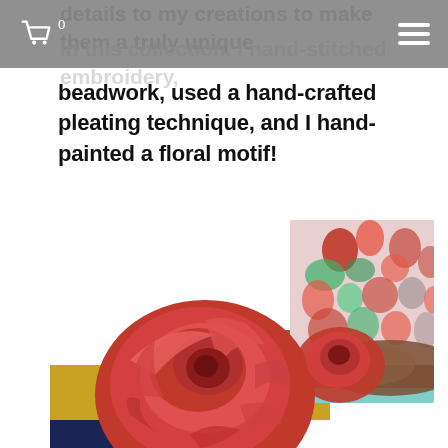0 (cart) | menu
details to my creations to make them a truly unique in this collection. I hand-stitched embroidery, beadwork, used a hand-crafted pleating technique, and I hand-painted a floral motif!
[Figure (photo): Close-up photo of a large red fabric rose flower decoration alongside colorful stacked fabric rolls (blue, gold, teal, brown) and a patterned textile with red, pink, green and black tones in the background.]